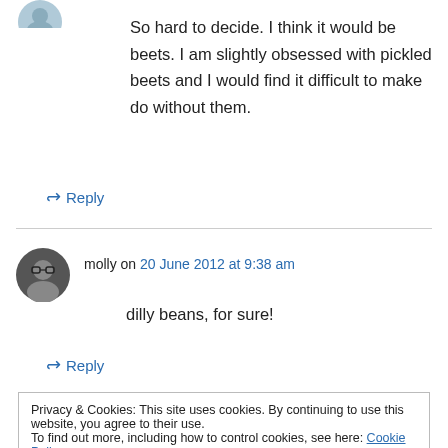[Figure (photo): Small partial avatar image at top left]
So hard to decide. I think it would be beets. I am slightly obsessed with pickled beets and I would find it difficult to make do without them.
↳ Reply
[Figure (photo): Round avatar photo of molly wearing glasses]
molly on 20 June 2012 at 9:38 am
dilly beans, for sure!
↳ Reply
Privacy & Cookies: This site uses cookies. By continuing to use this website, you agree to their use.
To find out more, including how to control cookies, see here: Cookie Policy